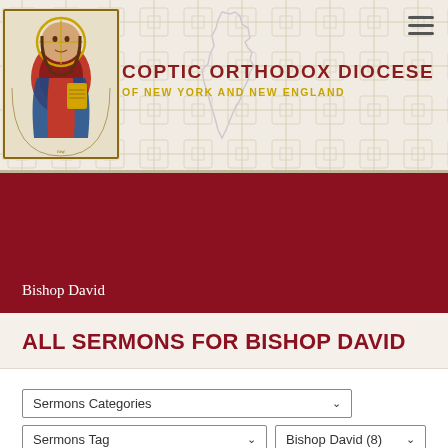[Figure (logo): Coptic Orthodox Diocese of New York and New England website header with Christ icon and diocese map outline, decorative geometric cross pattern background]
Bishop David
ALL SERMONS FOR BISHOP DAVID
Sermons Categories [dropdown]
Sermons Tag [dropdown] | Bishop David (8) [dropdown]
FILTER [button]